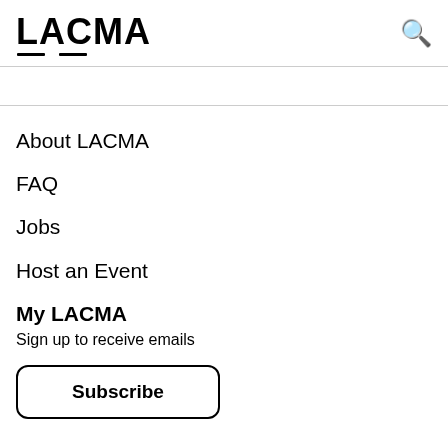LACMA
About LACMA
FAQ
Jobs
Host an Event
My LACMA
Sign up to receive emails
Subscribe